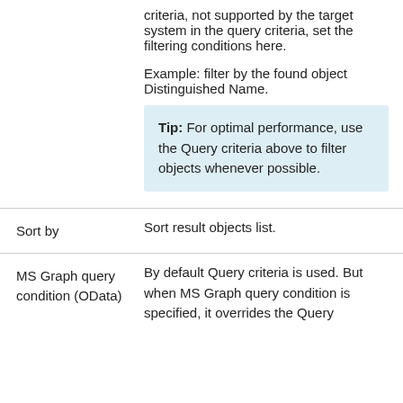criteria, not supported by the target system in the query criteria, set the filtering conditions here.

Example: filter by the found object Distinguished Name.
Tip: For optimal performance, use the Query criteria above to filter objects whenever possible.
Sort by
Sort result objects list.
MS Graph query condition (OData)
By default Query criteria is used. But when MS Graph query condition is specified, it overrides the Query